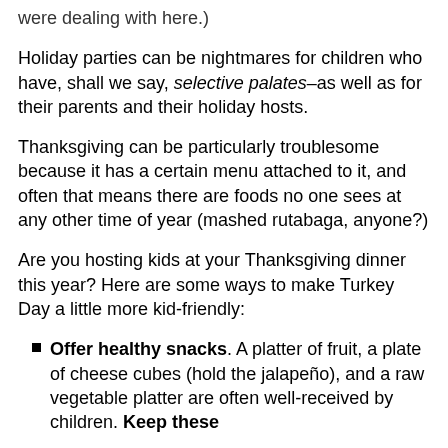were dealing with here.)
Holiday parties can be nightmares for children who have, shall we say, selective palates–as well as for their parents and their holiday hosts.
Thanksgiving can be particularly troublesome because it has a certain menu attached to it, and often that means there are foods no one sees at any other time of year (mashed rutabaga, anyone?)
Are you hosting kids at your Thanksgiving dinner this year? Here are some ways to make Turkey Day a little more kid-friendly:
Offer healthy snacks. A platter of fruit, a plate of cheese cubes (hold the jalapeño), and a raw vegetable platter are often well-received by children. Keep these